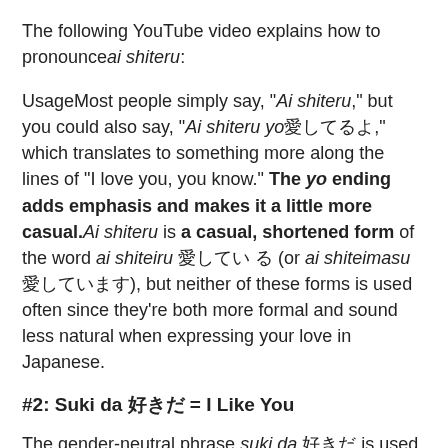The following YouTube video explains how to pronounce ai shiteru:
UsageMost people simply say, "Ai shiteru," but you could also say, "Ai shiteru yo愛してるよ," which translates to something more along the lines of "I love you, you know." The yo ending adds emphasis and makes it a little more casual. Ai shiteru is a casual, shortened form of the word ai shiteiru 愛してい る (or ai shiteimasu 愛しています), but neither of these forms is used often since they're both more formal and sound less natural when expressing your love in Japanese.
#2: Suki da 好きだ = I Like You
The gender-neutral phrase suki da 好きだ is used a lot more commonly than ai shiteru. This phrase literally translates to "I like you," but it can have heavier implications depending on the context, the person,